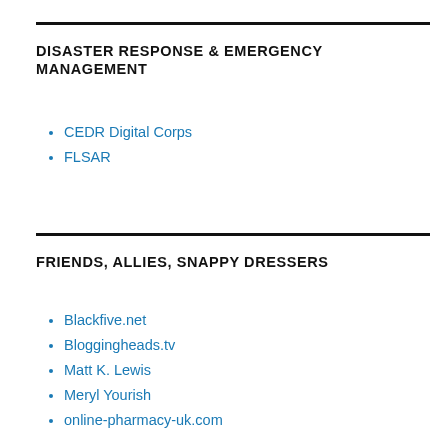DISASTER RESPONSE & EMERGENCY MANAGEMENT
CEDR Digital Corps
FLSAR
FRIENDS, ALLIES, SNAPPY DRESSERS
Blackfive.net
Bloggingheads.tv
Matt K. Lewis
Meryl Yourish
online-pharmacy-uk.com